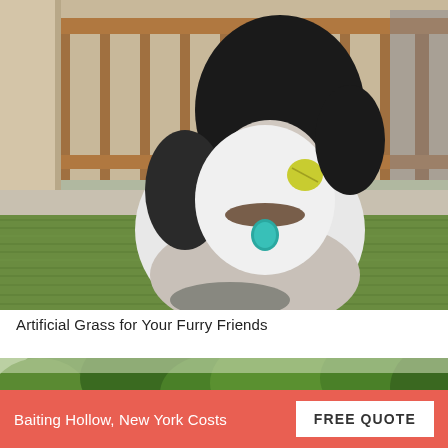[Figure (photo): A fluffy black and white Shih Tzu dog sitting on a bright green artificial lawn in front of a wooden deck railing. The dog has a teal/blue ID tag on its collar and appears to be holding a yellow tennis ball in its mouth.]
Artificial Grass for Your Furry Friends
[Figure (photo): Partial view of a green outdoor area with trees, bottom portion of a page card.]
Baiting Hollow, New York Costs
FREE QUOTE